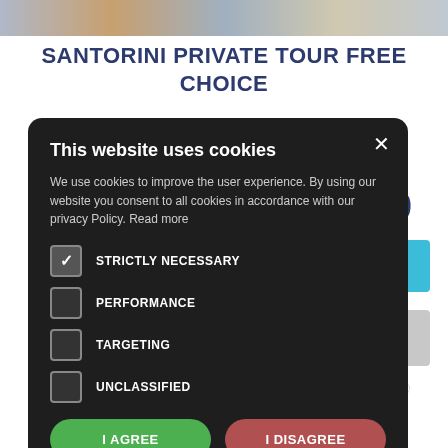[Figure (photo): Top strip showing partial photo collage of Santorini images]
SANTORINI PRIVATE TOUR FREE CHOICE
€340
[Figure (screenshot): Cookie consent modal overlay on dark background with checkboxes and agree/disagree buttons]
This website uses cookies
We use cookies to improve the user experience. By using our website you consent to all cookies in accordance with our privacy Policy. Read more
STRICTLY NECESSARY
PERFORMANCE
TARGETING
UNCLASSIFIED